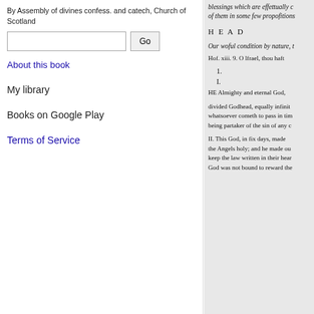By Assembly of divines confess. and catech, Church of Scotland
Go
About this book
My library
Books on Google Play
Terms of Service
blessings which are effettually c of them in some few propofitions
H E A D
Our woful condition by nature, t
Hof. xiii. 9. O lfrael, thou haft
1.
I.
HE Almighty and eternal God,
divided Godhead, equally infinit whatsoever cometh to pass in tim being partaker of the sin of any c
II. This God, in fix days, made the Angels holy; and he made ou keep the law written in their hear God was not bound to reward the